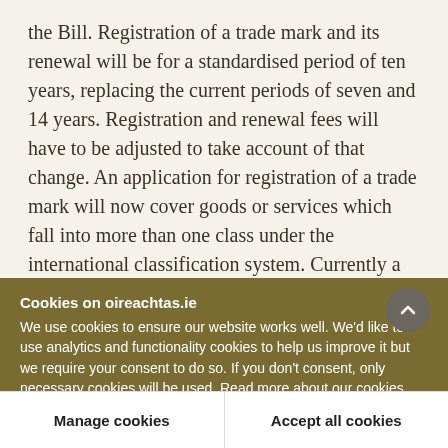the Bill. Registration of a trade mark and its renewal will be for a standardised period of ten years, replacing the current periods of seven and 14 years. Registration and renewal fees will have to be adjusted to take account of that change. An application for registration of a trade mark will now cover goods or services which fall into more than one class under the international classification system. Currently a separate application is necessary for each class of goods and a change of the current fees
Cookies on oireachtas.ie
We use cookies to ensure our website works well. We'd like to use analytics and functionality cookies to help us improve it but we require your consent to do so. If you don't consent, only necessary cookies will be used. Read more about our cookies